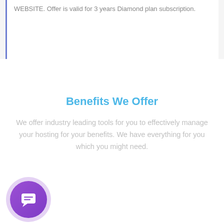WEBSITE. Offer is valid for 3 years Diamond plan subscription.
Benefits We Offer
We offer industry leading tools for you to effectively manage your hosting for your benefits. We have everything for you which you might need.
[Figure (illustration): Purple chat bubble icon in a circular button with outer glow ring]